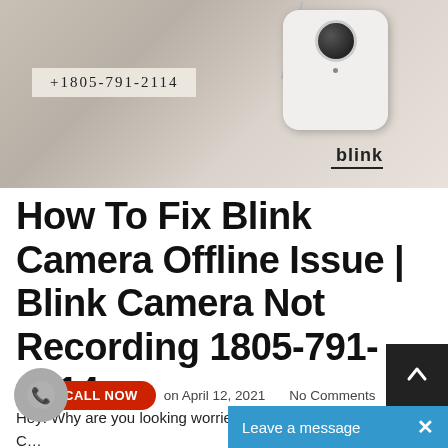[Figure (photo): Blink security camera on a surface with +1805-791-2114 phone number badge overlaid on the image]
How To Fix Blink Camera Offline Issue | Blink Camera Not Recording 1805-791-2114
on April 12, 2021    No Comments
Hey! Why are you looking worried? Wait! Is it a Blink Camera Offline issue? There is no doubt in the fact that security cameras have become a neces